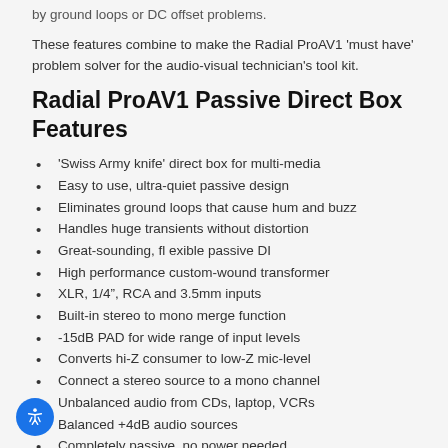by ground loops or DC offset problems.
These features combine to make the Radial ProAV1 'must have' problem solver for the audio-visual technician's tool kit.
Radial ProAV1 Passive Direct Box Features
'Swiss Army knife' direct box for multi-media
Easy to use, ultra-quiet passive design
Eliminates ground loops that cause hum and buzz
Handles huge transients without distortion
Great-sounding, fl exible passive DI
High performance custom-wound transformer
XLR, 1/4”, RCA and 3.5mm inputs
Built-in stereo to mono merge function
-15dB PAD for wide range of input levels
Converts hi-Z consumer to low-Z mic-level
Connect a stereo source to a mono channel
Unbalanced audio from CDs, laptop, VCRs
Balanced +4dB audio sources
Completely passive, no power needed
Ultra-tough 14 gauge steel enclosure